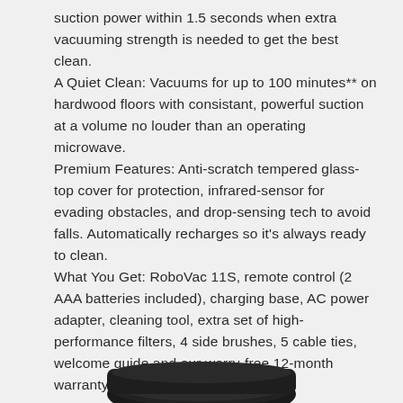suction power within 1.5 seconds when extra vacuuming strength is needed to get the best clean. A Quiet Clean: Vacuums for up to 100 minutes** on hardwood floors with consistant, powerful suction at a volume no louder than an operating microwave. Premium Features: Anti-scratch tempered glass-top cover for protection, infrared-sensor for evading obstacles, and drop-sensing tech to avoid falls. Automatically recharges so it's always ready to clean. What You Get: RoboVac 11S, remote control (2 AAA batteries included), charging base, AC power adapter, cleaning tool, extra set of high-performance filters, 4 side brushes, 5 cable ties, welcome guide and our worry-free 12-month warranty.
[Figure (photo): Partial bottom view of a RoboVac robot vacuum cleaner, dark colored, shown from below cropped at the bottom of the page.]